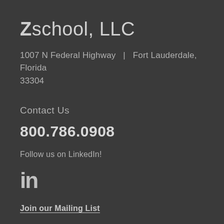Zschool, LLC
1007 N Federal Highway  |  Fort Lauderdale, Florida 33304
Contact Us
800.786.0908
Follow us on LinkedIn!
[Figure (logo): LinkedIn 'in' logo icon]
Join our Mailing List